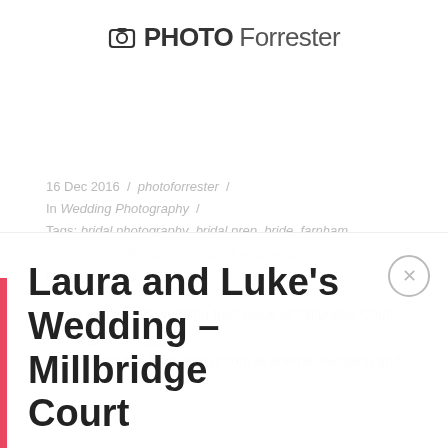PHOTOForrester
16 Dec 2016 / photoforrester / In Wedding Photography / Tags: bridal photography, bridal prep, bride, farnham, hampshire, millbridge court, photography, professional wedding photography, surrey, wedding
Laura and Luke's wedding took place at Millbridge Court on the 28th July 2016.
We had met the bride and groom at another wedding and
Laura and Luke's Wedding – Millbridge Court